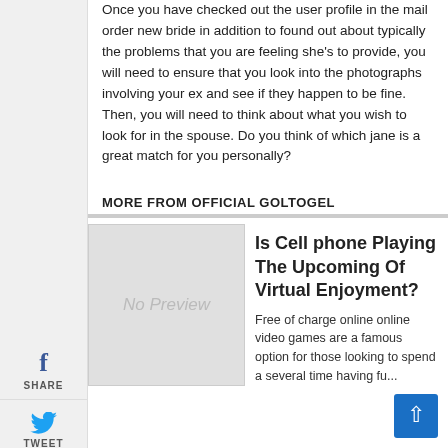Once you have checked out the user profile in the mail order new bride in addition to found out about typically the problems that you are feeling she’s to provide, you will need to ensure that you look into the photographs involving your ex and see if they happen to be fine. Then, you will need to think about what you wish to look for in the spouse. Do you think of which jane is a great match for you personally?
MORE FROM OFFICIAL GOLTOGEL
[Figure (other): No Preview placeholder image]
Is Cell phone Playing The Upcoming Of Virtual Enjoyment?
Free of charge online online video games are a famous option for those looking to spend a several time having fun